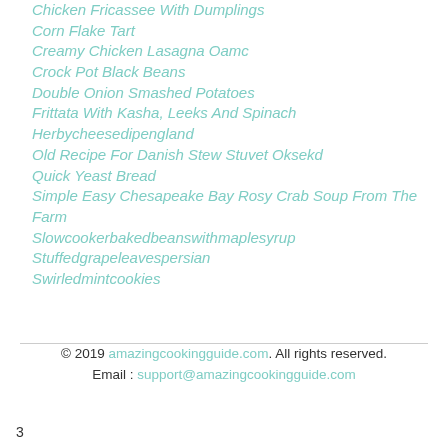Chicken Fricassee With Dumplings
Corn Flake Tart
Creamy Chicken Lasagna Oamc
Crock Pot Black Beans
Double Onion Smashed Potatoes
Frittata With Kasha, Leeks And Spinach
Herbycheesedipengland
Old Recipe For Danish Stew Stuvet Oksekd
Quick Yeast Bread
Simple Easy Chesapeake Bay Rosy Crab Soup From The Farm
Slowcookerbakedbeanswithmaplesyrup
Stuffedgrapeleavespersian
Swirledmintcookies
© 2019 amazingcookingguide.com. All rights reserved. Email : support@amazingcookingguide.com
3